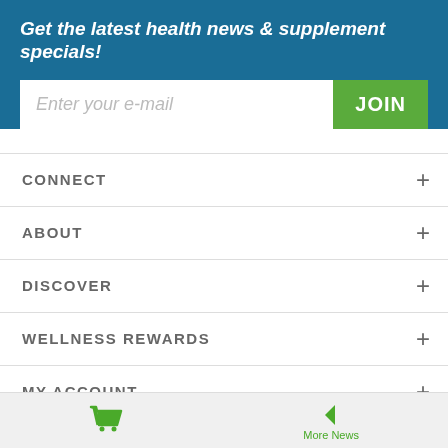Get the latest health news & supplement specials!
Enter your e-mail
CONNECT +
ABOUT +
DISCOVER +
WELLNESS REWARDS +
MY ACCOUNT +
*These statements have not been evaluated by the Food and Drug Administration. These products are not intended to diagnose, treat, cure, or
More News